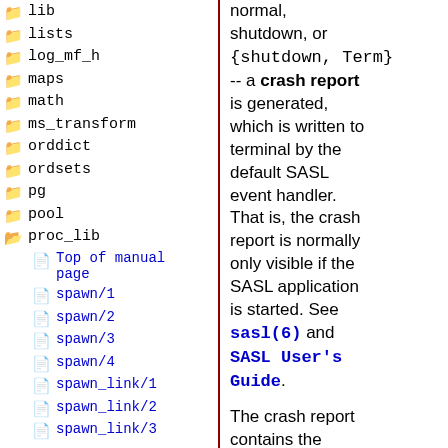lib
lists
log_mf_h
maps
math
ms_transform
orddict
ordsets
pg
pool
proc_lib
Top of manual page
spawn/1
spawn/2
spawn/3
spawn/4
spawn_link/1
spawn_link/2
spawn_link/3
normal, shutdown, or {shutdown, Term} -- a crash report is generated, which is written to terminal by the default SASL event handler. That is, the crash report is normally only visible if the SASL application is started. See sasl(6) and SASL User's Guide.
The crash report contains the previously stored information such as ancestors and initial function, the termination